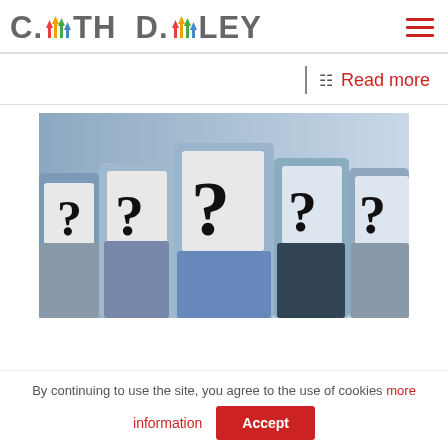C.TH D.LEY
Read more
[Figure (photo): Group of people holding up signs with question marks covering their faces, business/office setting, blue and grey tones]
By continuing to use the site, you agree to the use of cookies more information
Accept